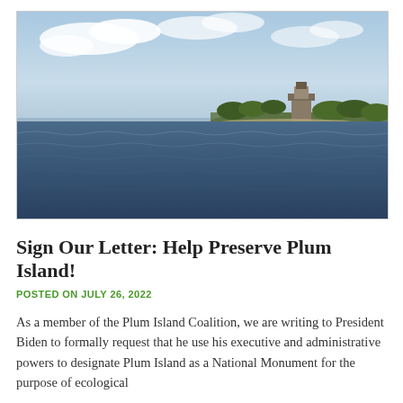[Figure (photo): Aerial/sea-level view of Plum Island from the water, showing dark blue choppy ocean in the foreground, a low-lying island with trees and an old building/lighthouse structure on the right, under a partly cloudy sky.]
Sign Our Letter: Help Preserve Plum Island!
POSTED ON JULY 26, 2022
As a member of the Plum Island Coalition, we are writing to President Biden to formally request that he use his executive and administrative powers to designate Plum Island as a National Monument for the purpose of ecological